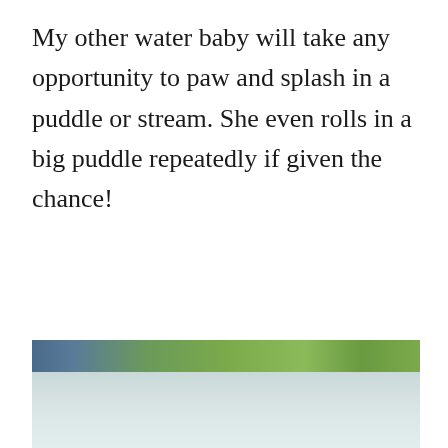My other water baby will take any opportunity to paw and splash in a puddle or stream. She even rolls in a big puddle repeatedly if given the chance!
[Figure (photo): Outdoor nature photo showing a strip of green grass/vegetation and blue sky at top, with a lighter misty or water-surface area below.]